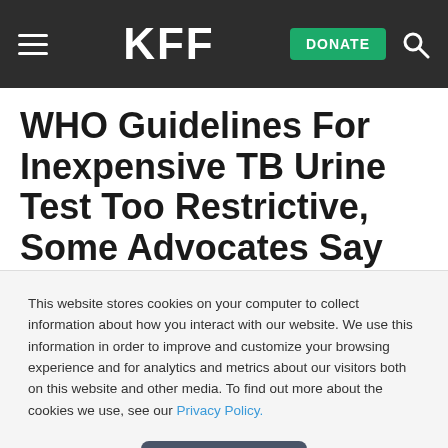KFF | DONATE
WHO Guidelines For Inexpensive TB Urine Test Too Restrictive, Some Advocates Say
Dec 18, 2018
This website stores cookies on your computer to collect information about how you interact with our website. We use this information in order to improve and customize your browsing experience and for analytics and metrics about our visitors both on this website and other media. To find out more about the cookies we use, see our Privacy Policy.
Accept